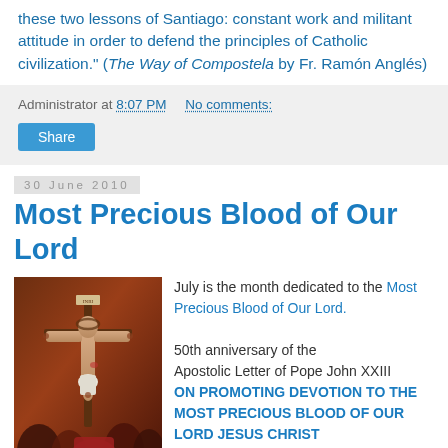these two lessons of Santiago: constant work and militant attitude in order to defend the principles of Catholic civilization." (The Way of Compostela by Fr. Ramón Anglés)
Administrator at 8:07 PM   No comments:
Share
30 June 2010
Most Precious Blood of Our Lord
[Figure (photo): Painting of the crucifixion of Jesus Christ with figures gathered around the cross]
July is the month dedicated to the Most Precious Blood of Our Lord.

50th anniversary of the Apostolic Letter of Pope John XXIII ON PROMOTING DEVOTION TO THE MOST PRECIOUS BLOOD OF OUR LORD JESUS CHRIST
30 June 1960